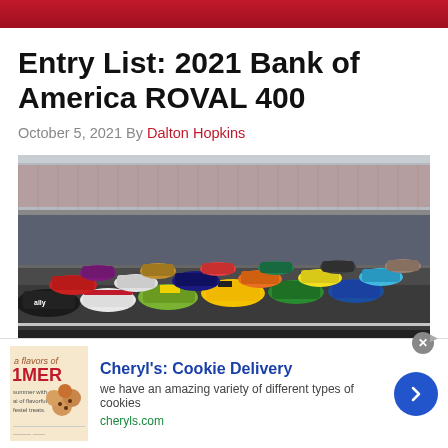Red navigation bar
Entry List: 2021 Bank of America ROVAL 400
October 5, 2021 By Dalton Hopkins
[Figure (photo): NASCAR race cars lined up on the ROVAL track at Charlotte Motor Speedway, with grandstands visible in the background]
Cheryl's: Cookie Delivery — we have an amazing variety of different types of cookies — cheryls.com